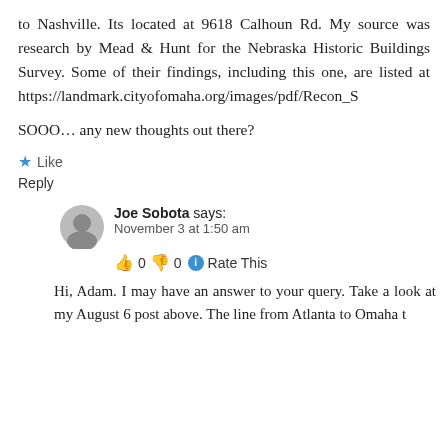to Nashville. Its located at 9618 Calhoun Rd. My source was research by Mead & Hunt for the Nebraska Historic Buildings Survey. Some of their findings, including this one, are listed at https://landmark.cityofomaha.org/images/pdf/Recon_S
SOOO… any new thoughts out there?
Like
Reply
Joe Sobota says:
November 3 at 1:50 am
👍 0 👎 0 ℹ Rate This
Hi, Adam. I may have an answer to your query. Take a look at my August 6 post above. The line from Atlanta to Omaha t